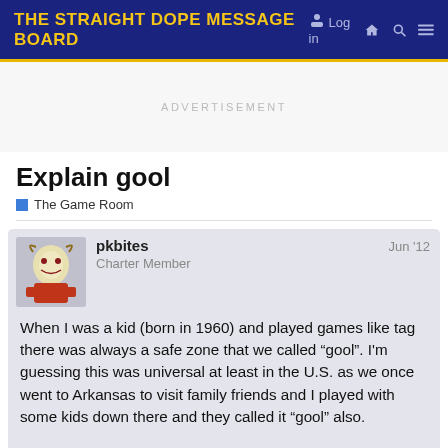THE STRAIGHT DOPE MESSAGE BOARD
ADVERTISEMENT
Explain gool
The Game Room
pkbites
Charter Member
Jun '12
When I was a kid (born in 1960) and played games like tag there was always a safe zone that we called “gool”. I'm guessing this was universal at least in the U.S. as we once went to Arkansas to visit family friends and I played with some kids down there and they called it “gool” also.

So what the heck is “gool”?😐